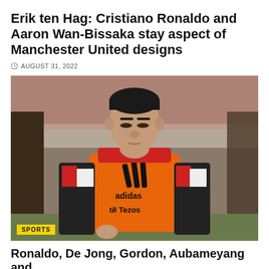Erik ten Hag: Cristiano Ronaldo and Aaron Wan-Bissaka stay aspect of Manchester United designs
AUGUST 31, 2022
[Figure (photo): Cristiano Ronaldo wearing an orange adidas Tezos training bib over a Manchester United black and red jersey, at a stadium with crowd in background. Sports badge overlay at bottom left.]
Ronaldo, De Jong, Gordon, Aubameyang and